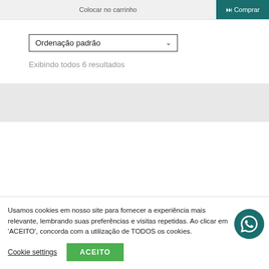[Figure (screenshot): Top bar with 'Colocar no carrinho' button area and 'Comprar' teal button]
[Figure (screenshot): Dropdown select box labeled 'Ordenação padrão' with chevron]
Exibindo todos 6 resultados
[Figure (screenshot): Gray band content area below results text]
Usamos cookies em nosso site para fornecer a experiência mais relevante, lembrando suas preferências e visitas repetidas. Ao clicar em 'ACEITO', concorda com a utilização de TODOS os cookies.
Cookie settings
ACEITO